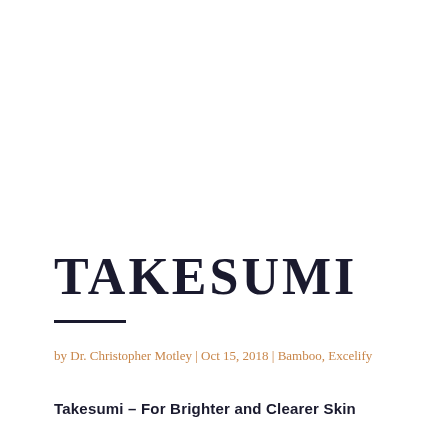TAKESUMI
by Dr. Christopher Motley | Oct 15, 2018 | Bamboo, Excelify
Takesumi – For Brighter and Clearer Skin